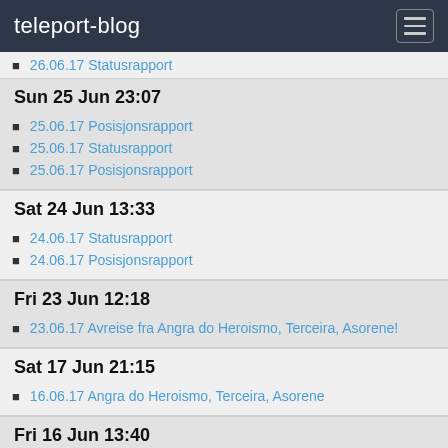teleport-blog
26.06.17 Statusrapport
Sun 25 Jun 23:07
25.06.17 Posisjonsrapport
25.06.17 Statusrapport
25.06.17 Posisjonsrapport
Sat 24 Jun 13:33
24.06.17 Statusrapport
24.06.17 Posisjonsrapport
Fri 23 Jun 12:18
23.06.17 Avreise fra Angra do Heroismo, Terceira, Asorene!
Sat 17 Jun 21:15
16.06.17 Angra do Heroismo, Terceira, Asorene
Fri 16 Jun 13:40
14.06.17 Velas, Sao Jorge, Asorene
Mon 5 Jun 00:24
04.06.17 Ankomst Asorene!!!!!!!